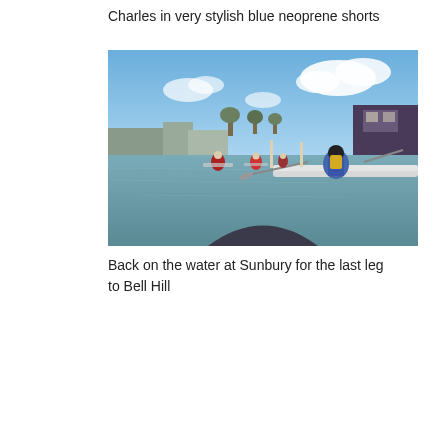Charles in very stylish blue neoprene shorts
[Figure (photo): Kayakers paddling on a river at Sunbury; view from inside a kayak looking forward at several paddlers in red and blue jackets, with moored narrowboats and trees along the bank, under a partly cloudy blue sky.]
Back on the water at Sunbury for the last leg to Bell Hill